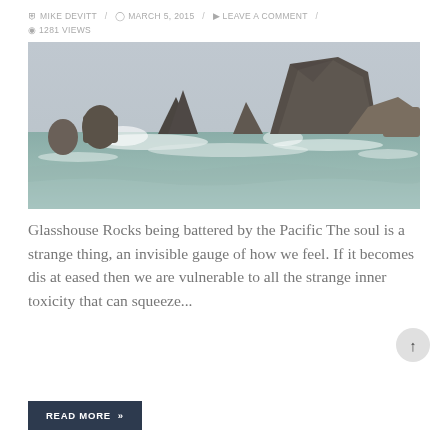MIKE DEVITT / MARCH 5, 2015 / LEAVE A COMMENT / 1281 VIEWS
[Figure (photo): Coastal seascape showing Glasshouse Rocks being battered by rough Pacific Ocean waves, with large dark rocky formations rising from turbulent water under an overcast grey sky.]
Glasshouse Rocks being battered by the Pacific The soul is a strange thing, an invisible gauge of how we feel. If it becomes dis at eased then we are vulnerable to all the strange inner toxicity that can squeeze...
READ MORE »